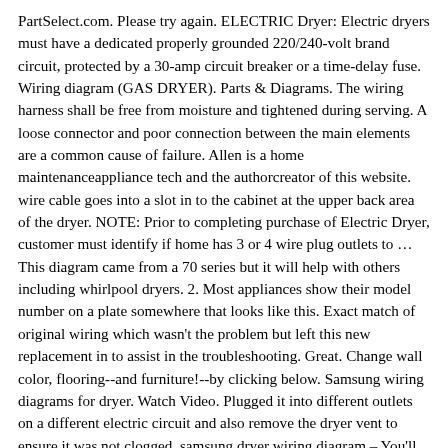PartSelect.com. Please try again. ELECTRIC Dryer: Electric dryers must have a dedicated properly grounded 220/240-volt brand circuit, protected by a 30-amp circuit breaker or a time-delay fuse. Wiring diagram (GAS DRYER). Parts & Diagrams. The wiring harness shall be free from moisture and tightened during serving. A loose connector and poor connection between the main elements are a common cause of failure. Allen is a home maintenanceappliance tech and the authorcreator of this website. wire cable goes into a slot in to the cabinet at the upper back area of the dryer. NOTE: Prior to completing purchase of Electric Dryer, customer must identify if home has 3 or 4 wire plug outlets to … This diagram came from a 70 series but it will help with others including whirlpool dryers. 2. Most appliances show their model number on a plate somewhere that looks like this. Exact match of original wiring which wasn't the problem but left this new replacement in to assist in the troubleshooting. Great. Change wall color, flooring--and furniture!--by clicking below. Samsung wiring diagrams for dryer. Watch Video. Plugged it into different outlets on a different electric circuit and also remove the dryer vent to ensure it was not clogged. samsung dryer wiring diagram – You'll need a comprehensive, expert, and easy to know Wiring Diagram. Remove the Top Cover, the Console, the front panel and the Plate(u). Open dryer door and remove 2 more screw at the base of the door. A wiring diagram is a simplified traditional photographic depiction of an electric circuit. Samsung Dryers. Find Samsung